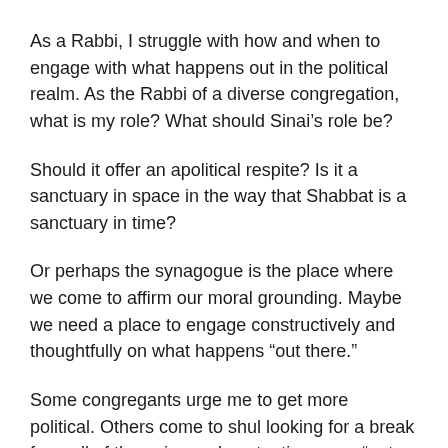As a Rabbi, I struggle with how and when to engage with what happens out in the political realm.  As the Rabbi of a diverse congregation, what is my role?  What should Sinai’s role be?
Should it offer an apolitical respite?  Is it a sanctuary in space in the way that Shabbat is a sanctuary in time?
Or perhaps the synagogue is the place where we come to affirm our moral grounding.  Maybe we need a place to engage constructively and thoughtfully on what happens “out there.”
Some congregants urge me to get more political.  Others come to shul looking for a break from all of the noise and contentiousness “out there.”  Let synagogue be a place in which politics is not mentioned.  Let it be a place where we